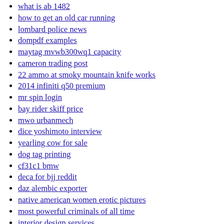what is ab 1482
how to get an old car running
lombard police news
dompdf examples
maytag mvwb300wq1 capacity
cameron trading post
22 ammo at smoky mountain knife works
2014 infiniti q50 premium
mr spin login
bay rider skiff price
mwo urbanmech
dice yoshimoto interview
yearling cow for sale
dog tag printing
cf31c1 bmw
deca for bjj reddit
daz alembic exporter
native american women erotic pictures
most powerful criminals of all time
interior design services
saltburn beach
robert half international
sct updater software
twin flames sleep patterns